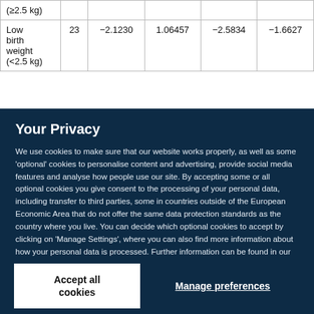| (≥2.5 kg) |  |  |  |  |  |
| Low birth weight (<2.5 kg) | 23 | −2.1230 | 1.06457 | −2.5834 | −1.6627 |
Your Privacy
We use cookies to make sure that our website works properly, as well as some 'optional' cookies to personalise content and advertising, provide social media features and analyse how people use our site. By accepting some or all optional cookies you give consent to the processing of your personal data, including transfer to third parties, some in countries outside of the European Economic Area that do not offer the same data protection standards as the country where you live. You can decide which optional cookies to accept by clicking on 'Manage Settings', where you can also find more information about how your personal data is processed. Further information can be found in our privacy policy.
Accept all cookies
Manage preferences